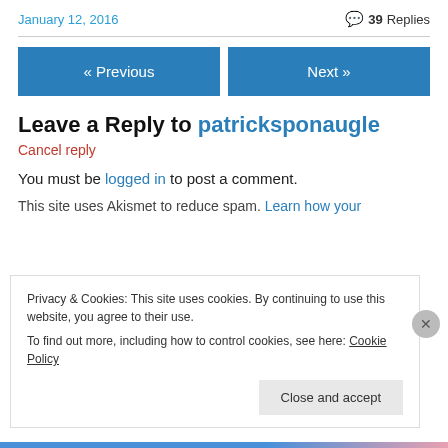January 12, 2016
💬 39 Replies
« Previous
Next »
Leave a Reply to patricksponaugle
Cancel reply
You must be logged in to post a comment.
This site uses Akismet to reduce spam. Learn how your
Privacy & Cookies: This site uses cookies. By continuing to use this website, you agree to their use. To find out more, including how to control cookies, see here: Cookie Policy
Close and accept